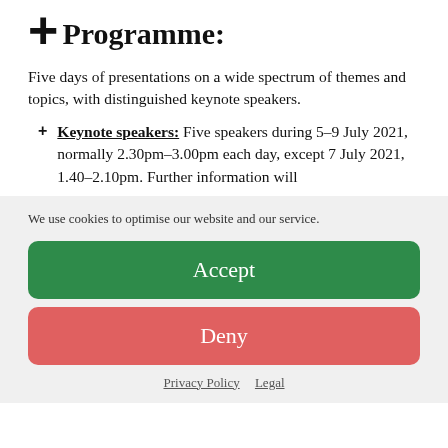Programme:
Five days of presentations on a wide spectrum of themes and topics, with distinguished keynote speakers.
Keynote speakers: Five speakers during 5–9 July 2021, normally 2.30pm–3.00pm each day, except 7 July 2021, 1.40–2.10pm. Further information will
We use cookies to optimise our website and our service.
Accept
Deny
Privacy Policy   Legal